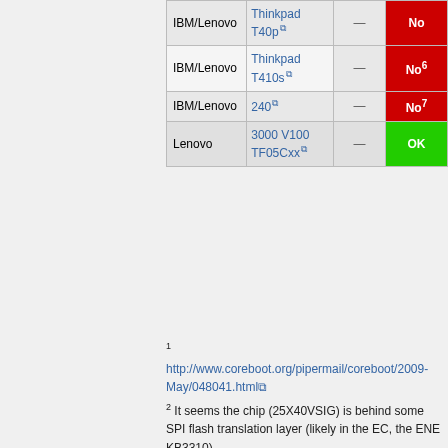| Manufacturer | Model | Programmer | Status |
| --- | --- | --- | --- |
| IBM/Lenovo | Thinkpad T40p | — | No |
| IBM/Lenovo | Thinkpad T410s | — | No6 |
| IBM/Lenovo | 240 | — | No7 |
| Lenovo | 3000 V100 TF05Cxx | — | OK |
1 http://www.coreboot.org/pipermail/coreboot/2009-May/048041.html
2 It seems the chip (25X40VSIG) is behind some SPI flash translation layer (likely in the EC, the ENE KB3310).
3 The laptop immediately powers off if you try to hot-swap the chip. It's not yet tested if write/erase would work on this laptop.
4 Shuts down when probing for a chip. http://www.flashrom.org/pipermail/flashrom/2010-May/003321.html
5 Hangs upon flashrom -V (needs hard power-